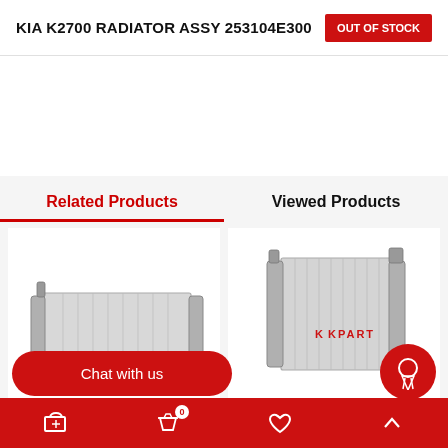KIA K2700 RADIATOR ASSY 253104E300
OUT OF STOCK
Related Products
Viewed Products
[Figure (photo): Horizontal flat radiator assembly, wide format, for a Kia vehicle]
[Figure (photo): Square/upright radiator assembly with KPART watermark logo]
Chat with us
Bottom navigation bar with cart, basket (0), heart, and up-arrow icons